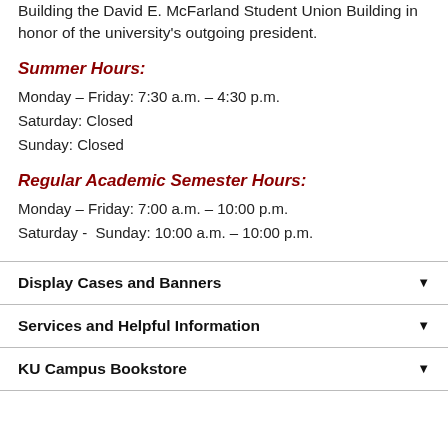Building the David E. McFarland Student Union Building in honor of the university's outgoing president.
Summer Hours:
Monday – Friday: 7:30 a.m. – 4:30 p.m.
Saturday: Closed
Sunday: Closed
Regular Academic Semester Hours:
Monday – Friday: 7:00 a.m. – 10:00 p.m.
Saturday -  Sunday: 10:00 a.m. – 10:00 p.m.
Display Cases and Banners
Services and Helpful Information
KU Campus Bookstore